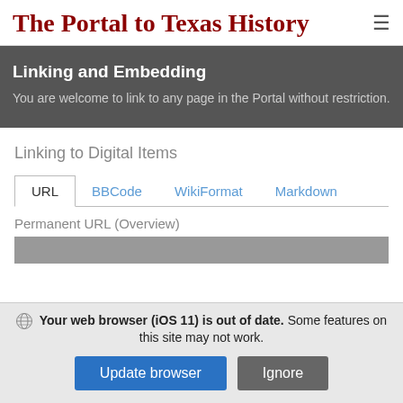The Portal to Texas History
Linking and Embedding
You are welcome to link to any page in the Portal without restriction.
Linking to Digital Items
URL  BBCode  WikiFormat  Markdown
Permanent URL (Overview)
Your web browser (iOS 11) is out of date. Some features on this site may not work.
Update browser   Ignore